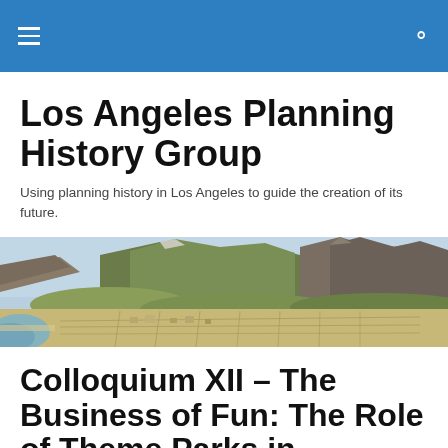Los Angeles Planning History Group
Using planning history in Los Angeles to guide the creation of its future.
[Figure (illustration): Panoramic historical illustration of Los Angeles landscape with mountains in the background and a grid-patterned settlement in the foreground near the coast.]
Colloquium XII – The Business of Fun: The Role of Theme Parks in Shaping Los Angeles